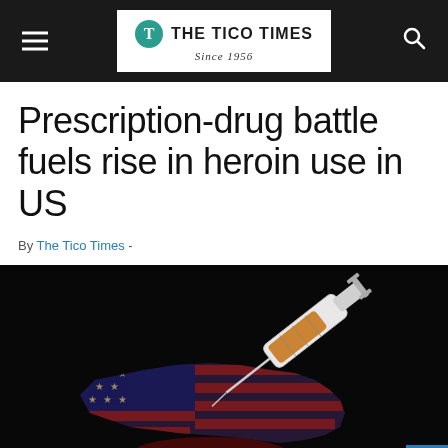THE TICO TIMES Since 1956
Prescription-drug battle fuels rise in heroin use in US
By The Tico Times -
[Figure (photo): Dark background photo showing a silhouette map of the United States overlaid with an American flag and a hypodermic syringe with an orange liquid, symbolizing the heroin and prescription drug epidemic in the US.]